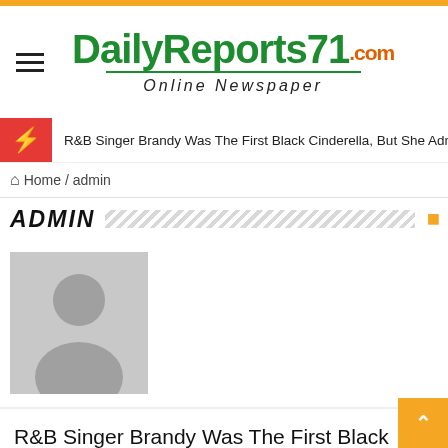DailyReports71.com Online Newspaper
R&B Singer Brandy Was The First Black Cinderella, But She Admits She Did
⌂ Home / admin
ADMIN
[Figure (photo): Gray placeholder profile avatar image with silhouette]
R&B Singer Brandy Was The First Black Cinderella, But She Admits She Didn't Always Feel Pretty